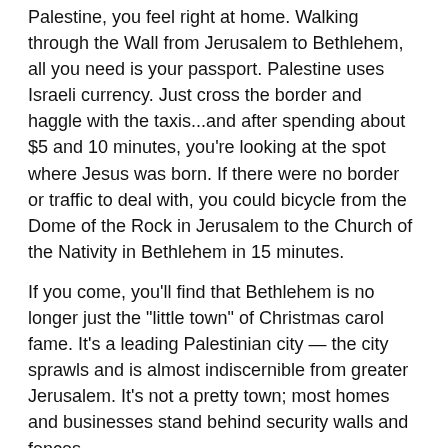Palestine, you feel right at home. Walking through the Wall from Jerusalem to Bethlehem, all you need is your passport. Palestine uses Israeli currency. Just cross the border and haggle with the taxis...and after spending about $5 and 10 minutes, you're looking at the spot where Jesus was born. If there were no border or traffic to deal with, you could bicycle from the Dome of the Rock in Jerusalem to the Church of the Nativity in Bethlehem in 15 minutes.
If you come, you'll find that Bethlehem is no longer just the "little town" of Christmas carol fame. It's a leading Palestinian city — the city sprawls and is almost indiscernible from greater Jerusalem. It's not a pretty town; most homes and businesses stand behind security walls and fences.
But Bethlehem has a special energy and a very cool Arabic vibe, especially in the early evening. The Arab market is colorful. And the skyline is a commotion of both crescents and crosses — a reminder that the town, while almost totally Arab, remains a mix of Muslims and Christians.